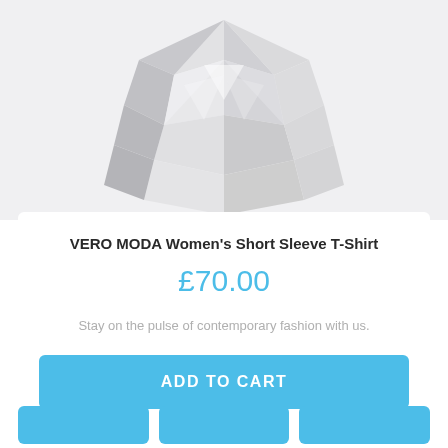[Figure (illustration): Low-poly geometric diamond/gem shape in light grey tones on a light grey background, shown partially cropped at the top of the page]
VERO MODA Women's Short Sleeve T-Shirt
£70.00
Stay on the pulse of contemporary fashion with us.
ADD TO CART